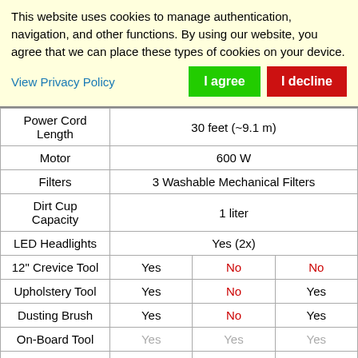This website uses cookies to manage authentication, navigation, and other functions. By using our website, you agree that we can place these types of cookies on your device.
View Privacy Policy
I agree
I decline
|  |  |  |  |
| --- | --- | --- | --- |
| Power Cord
Length | 30 feet (~9.1 m) |  |  |
| Motor | 600 W |  |  |
| Filters | 3 Washable Mechanical Filters |  |  |
| Dirt Cup
Capacity | 1 liter |  |  |
| LED Headlights | Yes (2x) |  |  |
| 12" Crevice Tool | Yes | No | No |
| Upholstery Tool | Yes | No | Yes |
| Dusting Brush | Yes | No | Yes |
| On-Board Tool | Yes | Yes | Yes |
| Clip | Yes | Yes | Yes |
| Wall Mount | Yes | Yes | Yes |